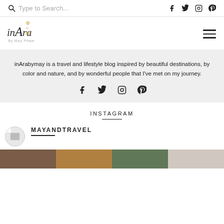Type to Search...
[Figure (logo): inAra By May Pham logo - stylized italic text with gold leaf decoration]
inArabymay is a travel and lifestyle blog inspired by beautiful destinations, by color and nature, and by wonderful people that I've met on my journey.
INSTAGRAM
MAYANDTRAVEL
[Figure (photo): Instagram feed image strip at bottom of page]